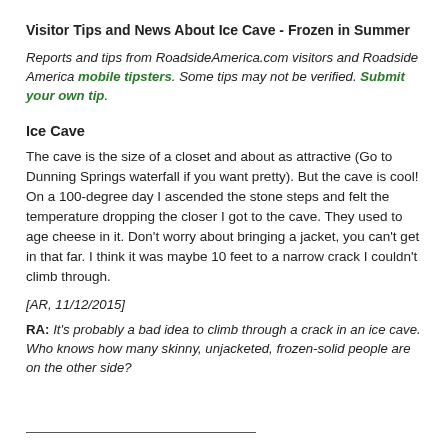Visitor Tips and News About Ice Cave - Frozen in Summer
Reports and tips from RoadsideAmerica.com visitors and Roadside America mobile tipsters. Some tips may not be verified. Submit your own tip.
Ice Cave
The cave is the size of a closet and about as attractive (Go to Dunning Springs waterfall if you want pretty). But the cave is cool! On a 100-degree day I ascended the stone steps and felt the temperature dropping the closer I got to the cave. They used to age cheese in it. Don't worry about bringing a jacket, you can't get in that far. I think it was maybe 10 feet to a narrow crack I couldn't climb through.
[AR, 11/12/2015]
RA: It's probably a bad idea to climb through a crack in an ice cave. Who knows how many skinny, unjacketed, frozen-solid people are on the other side?